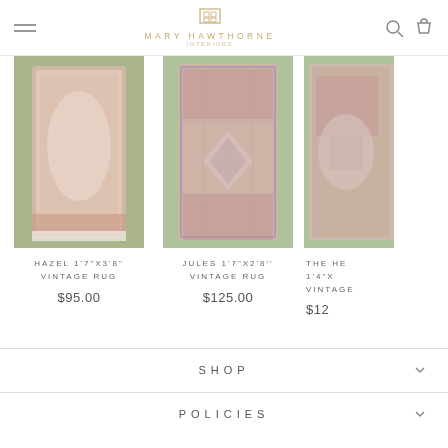Mary Hawthorne
[Figure (photo): Hazel vintage rug product photo - pink/rose colored worn rug on green grass]
HAZEL 1'7"X3'8" VINTAGE RUG
$95.00
[Figure (photo): Jules vintage rug product photo - geometric patterned rug with pink and grey tones on green grass]
JULES 1'7"X2'8'' VINTAGE RUG
$125.00
[Figure (photo): The He... vintage rug partial product photo - partially cropped, 1'4"x... vintage rug]
THE HE 1'4"X VINTAGE
$12...
SHOP
POLICIES